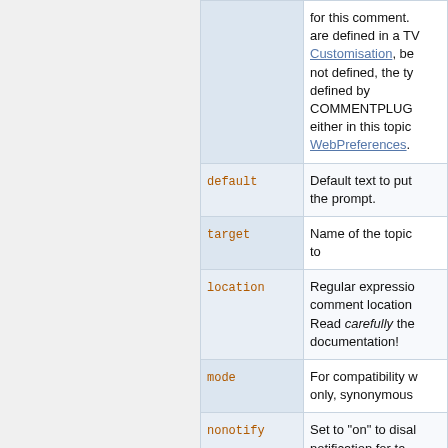| Parameter | Description |
| --- | --- |
|  | for this comment. are defined in a TV... Customisation, be... not defined, the ty... defined by COMMENTPLUG... either in this topic WebPreferences. |
| default | Default text to put the prompt. |
| target | Name of the topic to |
| location | Regular expressio... comment location Read carefully the documentation! |
| mode | For compatibility w... only, synonymous... |
| nonotify | Set to "on" to disal notification for ta... |